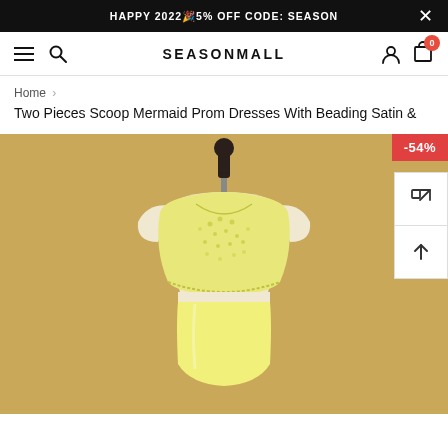HAPPY 2022🎉5% OFF CODE: SEASON
[Figure (logo): SEASONMALL logo with hamburger menu, search icon, user icon, and cart icon showing 0 items]
Home > Two Pieces Scoop Mermaid Prom Dresses With Beading Satin &
[Figure (photo): Yellow two-piece prom dress on a mannequin against a tan/khaki background. The top is a beaded/embellished crop top with scoop neck, and the bottom is a fitted yellow satin skirt. A -54% discount badge is shown in the top right corner.]